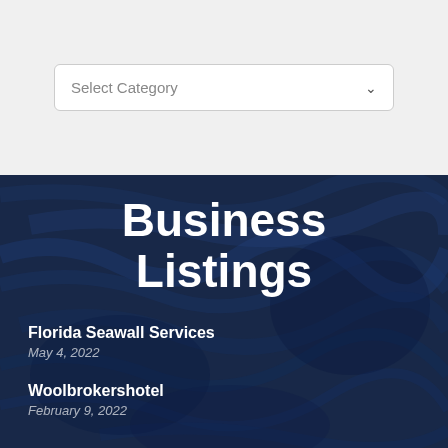[Figure (screenshot): A dropdown form field showing 'Select Category' with a chevron arrow on the right, inside a white rounded box on a light gray background.]
Business Listings
Florida Seawall Services
May 4, 2022
Woolbrokershotel
February 9, 2022